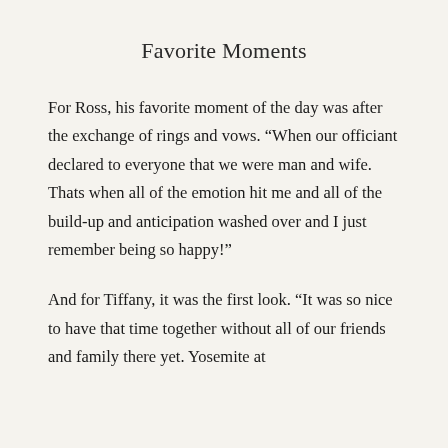Favorite Moments
For Ross, his favorite moment of the day was after the exchange of rings and vows. “When our officiant declared to everyone that we were man and wife. Thats when all of the emotion hit me and all of the build-up and anticipation washed over and I just remember being so happy!”
And for Tiffany, it was the first look. “It was so nice to have that time together without all of our friends and family there yet. Yosemite at